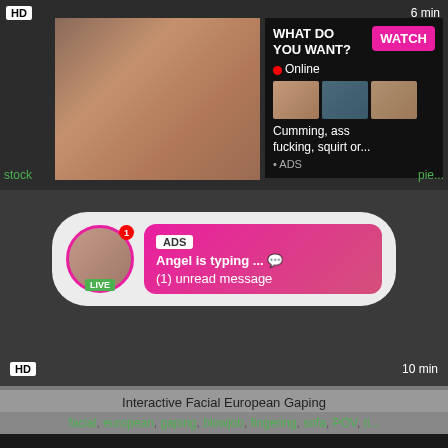[Figure (screenshot): Adult video thumbnail with HD badge and 6 min duration label, with overlay ad showing 'WHAT DO YOU WANT? WATCH' button, Online status, thumbnail images, and text 'Cumming, ass fucking, squirt or... • ADS']
[Figure (screenshot): Adult video player area with chat advertisement bubble showing avatar with LIVE badge, ADS tag, 'Angel is typing ... (1) unread message' in pink gradient box. HD badge and 10 min duration shown.]
Interactive Facial European Gaping
facial, european, gaping, blowjob, fingering, sofa, POV, ti...
[Figure (screenshot): Bottom portion of another video thumbnail, dark/black]